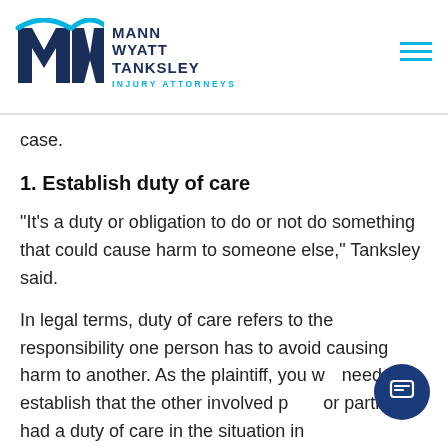[Figure (logo): Mann Wyatt Tanksley Injury Attorneys logo with MW monogram in dark navy and cyan accent]
case.
1. Establish duty of care
“It’s a duty or obligation to do or not do something that could cause harm to someone else,” Tanksley said.
In legal terms, duty of care refers to the responsibility one person has to avoid causing harm to another. As the plaintiff, you will need to establish that the other involved party or parties had a duty of care in the situation in